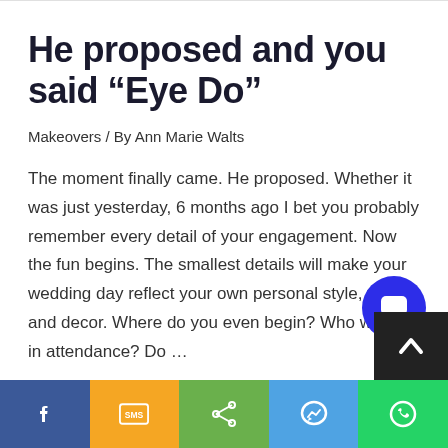He proposed and you said “Eye Do”
Makeovers / By Ann Marie Walts
The moment finally came. He proposed. Whether it was just yesterday, 6 months ago I bet you probably remember every detail of your engagement. Now the fun begins. The smallest details will make your wedding day reflect your own personal style, taste and decor. Where do you even begin? Who will be in attendance? Do …
Read More »
[Figure (infographic): Blue circular chat/comment button with speech bubble icon]
[Figure (infographic): Dark back-to-top button with upward chevron arrow]
[Figure (infographic): Social sharing bar with five buttons: Facebook (blue, f icon), SMS (orange, SMS icon), Share (green, share icon), Messenger (blue, messenger icon), WhatsApp (green, phone icon)]